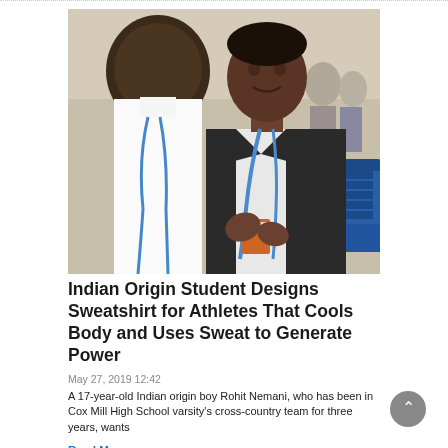[Figure (photo): Two young men of South Asian appearance in conversation at what appears to be a conference or expo. The man on the right faces the camera, wearing a dark suit jacket with a blue lanyard. The man on the left is seen from behind, wearing a white shirt with a blue lanyard.]
Indian Origin Student Designs Sweatshirt for Athletes That Cools Body and Uses Sweat to Generate Power
May 27, 2019 12:42
A 17-year-old Indian origin boy Rohit Nemani, who has been in Cox Mill High School varsity's cross-country team for three years, wants
Read More »